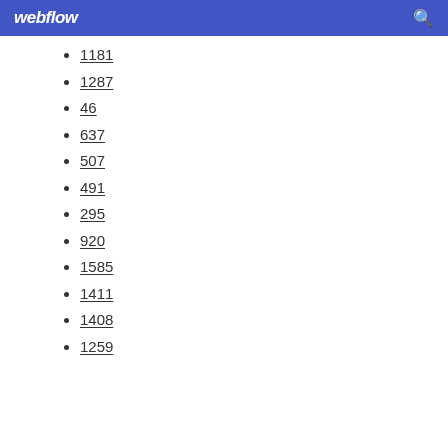webflow
1181
1287
46
637
507
491
295
920
1585
1411
1408
1259